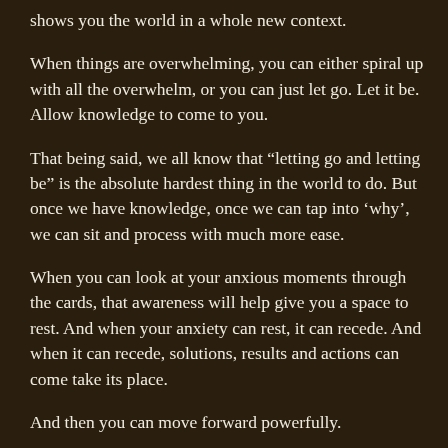shows you the world in a whole new context.
When things are overwhelming, you can either spiral up with all the overwhelm, or you can just let go. Let it be. Allow knowledge to come to you.
That being said, we all know that “letting go and letting be” is the absolute hardest thing in the world to do. But once we have knowledge, once we can tap into ‘why’, we can sit and process with much more ease.
When you can look at your anxious moments through the cards, that awareness will help give you a space to rest. And when your anxiety can rest, it can recede. And when it can recede, solutions, results and actions can come take its place.
And then you can move forward powerfully.